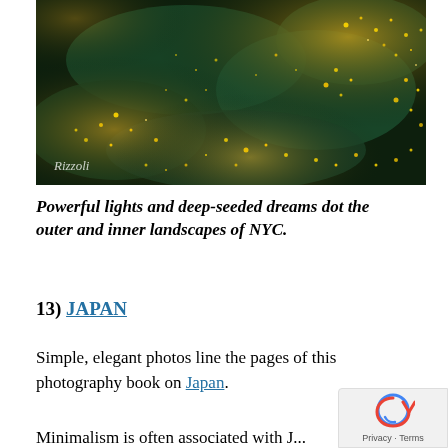[Figure (photo): Aerial night photograph of a city landscape showing golden lights dotting green-dark terrain. The Rizzoli logo appears in the lower-left corner of the image.]
Powerful lights and deep-seeded dreams dot the outer and inner landscapes of NYC.
13) JAPAN
Simple, elegant photos line the pages of this photography book on Japan.
Minimalism is often associated with J...